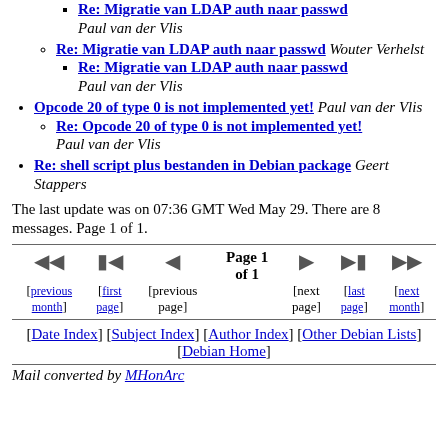Re: Migratie van LDAP auth naar passwd — Paul van der Vlis
Re: Migratie van LDAP auth naar passwd — Wouter Verhelst
Re: Migratie van LDAP auth naar passwd — Paul van der Vlis
Opcode 20 of type 0 is not implemented yet! — Paul van der Vlis
Re: Opcode 20 of type 0 is not implemented yet! — Paul van der Vlis
Re: shell script plus bestanden in Debian package — Geert Stappers
The last update was on 07:36 GMT Wed May 29. There are 8 messages. Page 1 of 1.
[Figure (other): Navigation bar with previous month, first page, previous page, Page 1 of 1, next page, last page, next month controls]
[Date Index] [Subject Index] [Author Index] [Other Debian Lists] [Debian Home]
Mail converted by MHonArc